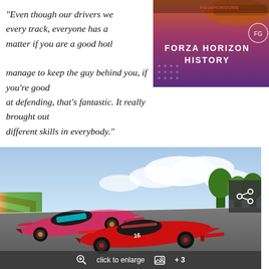“Even though our drivers we every track, everyone has a matter if you are a good hotl manage to keep the guy behind you, if you’re good at defending, that’s fantastic. It really brought out different skills in everybody.”
[Figure (screenshot): Forza Horizon History thumbnail showing a race car on a gradient background with text FORZA HORIZON HISTORY and an FG logo]
[Figure (photo): Two Formula-style racing cars on a race track, one with pink/black livery and one with red/black livery, with trees and sky in background. Overlay shows click to enlarge bar and share icon.]